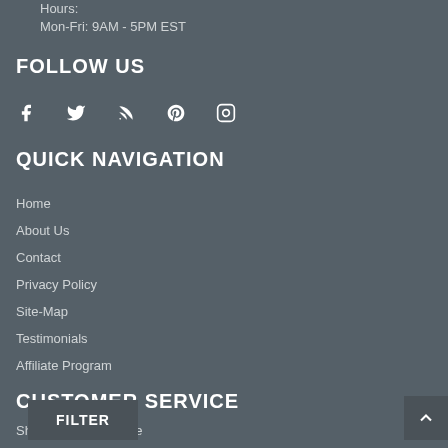Hours:
Mon-Fri: 9AM - 5PM EST
FOLLOW US
[Figure (other): Social media icons: Facebook, Twitter, RSS, Pinterest, Instagram]
QUICK NAVIGATION
Home
About Us
Contact
Privacy Policy
Site-Map
Testimonials
Affiliate Program
CUSTOMER SERVICE
Shop with Confidence